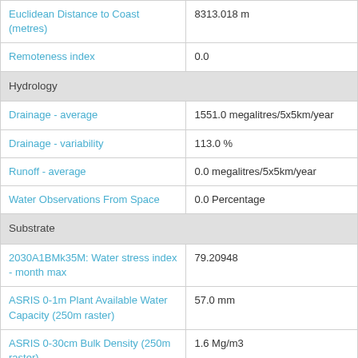| Property | Value |
| --- | --- |
| Euclidean Distance to Coast (metres) | 8313.018 m |
| Remoteness index | 0.0 |
| Hydrology |  |
| Drainage - average | 1551.0 megalitres/5x5km/year |
| Drainage - variability | 113.0 % |
| Runoff - average | 0.0 megalitres/5x5km/year |
| Water Observations From Space | 0.0 Percentage |
| Substrate |  |
| 2030A1BMk35M: Water stress index - month max | 79.20948 |
| ASRIS 0-1m Plant Available Water Capacity (250m raster) | 57.0 mm |
| ASRIS 0-30cm Bulk Density (250m raster) | 1.6 Mg/m3 |